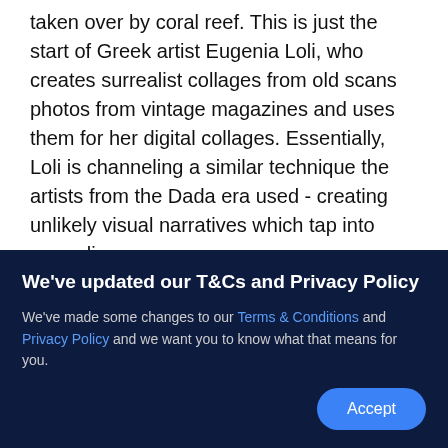taken over by coral reef. This is just the start of Greek artist Eugenia Loli, who creates surrealist collages from old scans photos from vintage magazines and uses them for her digital collages. Essentially, Loli is channeling a similar technique the artists from the Dada era used - creating unlikely visual narratives which tap into surrealism.
[Figure (screenshot): Instagram profile card for eugenia_loli showing 148K followers and a View profile button, with a space/galaxy image preview below]
We've updated our T&Cs and Privacy Policy
We've made some changes to our Terms & Conditions and Privacy Policy and we want you to know what that means for you.